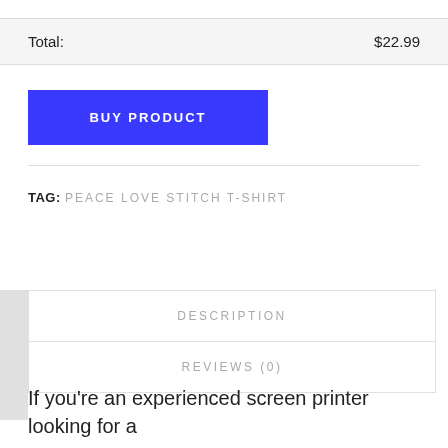Total: $22.99
[Figure (other): Blue 'BUY PRODUCT' button]
TAG: PEACE LOVE STITCH T-SHIRT
DESCRIPTION
REVIEWS (0)
If you're an experienced screen printer looking for a